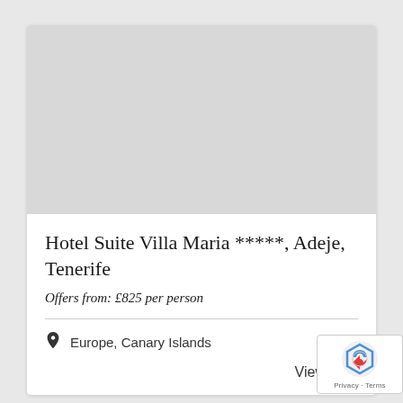[Figure (photo): Gray placeholder image for hotel photo]
Hotel Suite Villa Maria *****, Adeje, Tenerife
Offers from: £825 per person
Europe, Canary Islands
View Mor